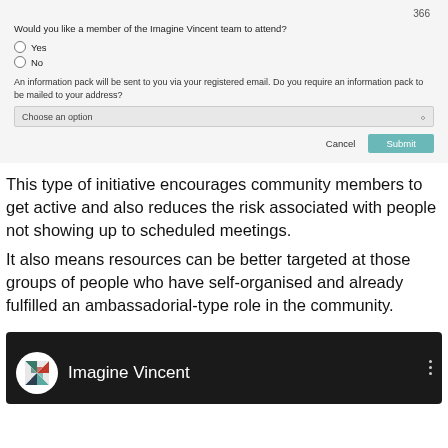366
Would you like a member of the Imagine Vincent team to attend?
Yes
No
An information pack will be sent to you via your registered email. Do you require an information pack to be mailed to your address?
Choose an option
Cancel   Submit
This type of initiative encourages community members to get active and also reduces the risk associated with people not showing up to scheduled meetings.
It also means resources can be better targeted at those groups of people who have self-organised and already fulfilled an ambassadorial-type role in the community.
[Figure (screenshot): A YouTube-style video thumbnail header showing the Imagine Vincent logo (a compass rose with colorful triangular segments) in a white circle on a dark background, with text 'Imagine Vincent' and a three-dot menu icon.]